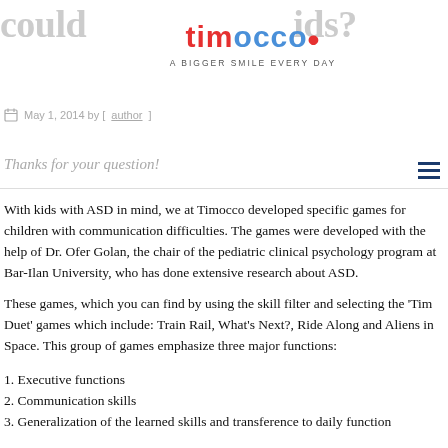could … kids?
[Figure (logo): Timocco logo with tagline 'A BIGGER SMILE EVERY DAY']
May 1, 2014 by [author]
Thanks for your question!
With kids with ASD in mind, we at Timocco developed specific games for children with communication difficulties. The games were developed with the help of Dr. Ofer Golan, the chair of the pediatric clinical psychology program at Bar-Ilan University, who has done extensive research about ASD.
These games, which you can find by using the skill filter and selecting the 'Tim Duet' games which include: Train Rail, What's Next?, Ride Along and Aliens in Space. This group of games emphasize three major functions:
1. Executive functions
2. Communication skills
3. Generalization of the learned skills and transference to daily function